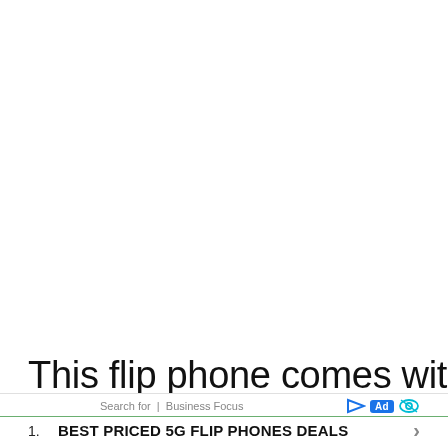This flip phone comes with a long-lasting design that provides you with amazing call and picture
Search for  |  Business Focus
1.  BEST PRICED 5G FLIP PHONES DEALS